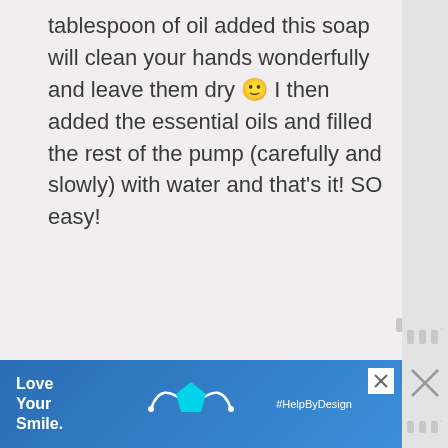tablespoon of oil added this soap will clean your hands wonderfully and leave them dry 🙂 I then added the essential oils and filled the rest of the pump (carefully and slowly) with water and that's it! SO easy!
[Figure (screenshot): Watermark icon (three vertical bars with degree symbol) in light gray]
[Figure (screenshot): Advertisement banner for 'Love Your Smile' with cyan pentagon shape and #HelpByDesign hashtag, with close button]